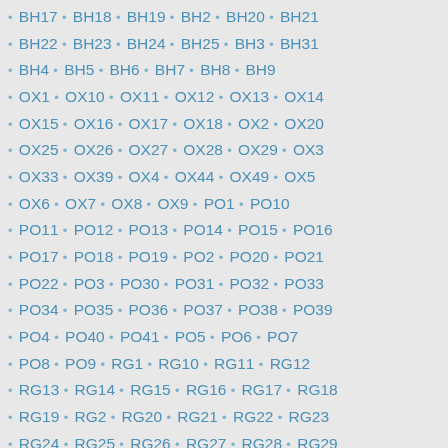BH17 • BH18 • BH19 • BH2 • BH20 • BH21
BH22 • BH23 • BH24 • BH25 • BH3 • BH31
BH4 • BH5 • BH6 • BH7 • BH8 • BH9
OX1 • OX10 • OX11 • OX12 • OX13 • OX14
OX15 • OX16 • OX17 • OX18 • OX2 • OX20
OX25 • OX26 • OX27 • OX28 • OX29 • OX3
OX33 • OX39 • OX4 • OX44 • OX49 • OX5
OX6 • OX7 • OX8 • OX9 • PO1 • PO10
PO11 • PO12 • PO13 • PO14 • PO15 • PO16
PO17 • PO18 • PO19 • PO2 • PO20 • PO21
PO22 • PO3 • PO30 • PO31 • PO32 • PO33
PO34 • PO35 • PO36 • PO37 • PO38 • PO39
PO4 • PO40 • PO41 • PO5 • PO6 • PO7
PO8 • PO9 • RG1 • RG10 • RG11 • RG12
RG13 • RG14 • RG15 • RG16 • RG17 • RG18
RG19 • RG2 • RG20 • RG21 • RG22 • RG23
RG24 • RG25 • RG26 • RG27 • RG28 • RG29
RG3 • RG30 • RG31 • RG4 • RG40 • RG41
RG42 • RG45 • RG5 • RG6 • RG7 • RG8
RG9 • SN1 • SN10 • SN11 • SN12 • SN13
SN14 • SN15 • SN16 • SN17 • SN2 • SN25